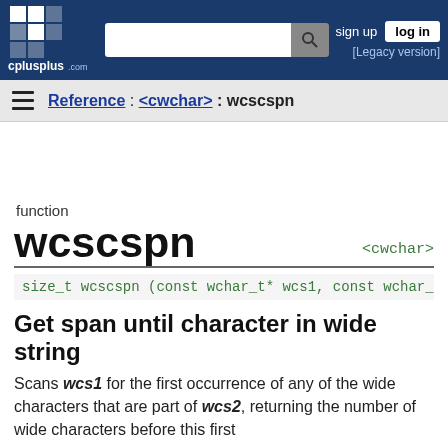cplusplus.com — Reference : <cwchar> : wcscspn
Reference : <cwchar> : wcscspn
function
wcscspn
<cwchar>
size_t wcscspn (const wchar_t* wcs1, const wchar_t* wcs2
Get span until character in wide string
Scans wcs1 for the first occurrence of any of the wide characters that are part of wcs2, returning the number of wide characters before this first occurrence.